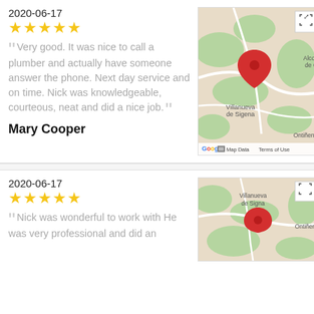2020-06-17
★★★★★
Very good. It was nice to call a plumber and actually have someone answer the phone. Next day service and on time. Nick was knowledgeable, courteous, neat and did a nice job.
[Figure (map): Google Maps screenshot showing Villanueva de Sigena area with a red location pin, partial labels for Alco de Ci, Ontiñena, and Google branding with Map Data and Terms of Use]
Mary Cooper
2020-06-17
★★★★★
Nick was wonderful to work with He was very professional and did an
[Figure (map): Google Maps screenshot showing Villanueva de Sigena area with a red location pin, partial labels for Ontiñena visible]